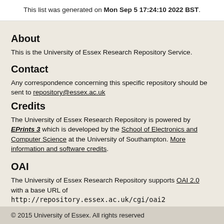This list was generated on Mon Sep 5 17:24:10 2022 BST.
About
This is the University of Essex Research Repository Service.
Contact
Any correspondence concerning this specific repository should be sent to repository@essex.ac.uk
Credits
The University of Essex Research Repository is powered by EPrints 3 which is developed by the School of Electronics and Computer Science at the University of Southampton. More information and software credits.
OAI
The University of Essex Research Repository supports OAI 2.0 with a base URL of http://repository.essex.ac.uk/cgi/oai2
© 2015 University of Essex. All rights reserved